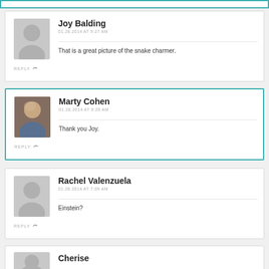[top bar / previous comment border]
Joy Balding
01.28.2014 AT 9:27 AM
That is a great picture of the snake charmer.
Marty Cohen
01.28.2014 AT 9:28 AM
Thank you Joy.
Rachel Valenzuela
01.28.2014 AT 7:09 AM
Einstein?
Cherise